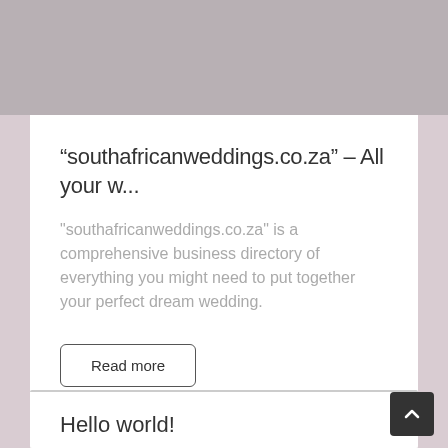“southafricanweddings.co.za” – All your w...
"southafricanweddings.co.za" is a comprehensive business directory of everything you might need to put together your perfect dream wedding.
Read more
June 3, 2018   0
Hello world!